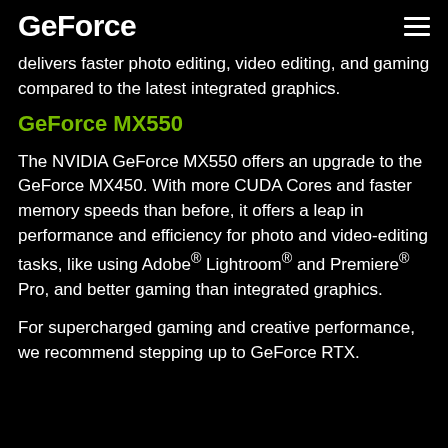GeForce
delivers faster photo editing, video editing, and gaming compared to the latest integrated graphics.
GeForce MX550
The NVIDIA GeForce MX550 offers an upgrade to the GeForce MX450. With more CUDA Cores and faster memory speeds than before, it offers a leap in performance and efficiency for photo and video-editing tasks, like using Adobe® Lightroom® and Premiere® Pro, and better gaming than integrated graphics.
For supercharged gaming and creative performance, we recommend stepping up to GeForce RTX.